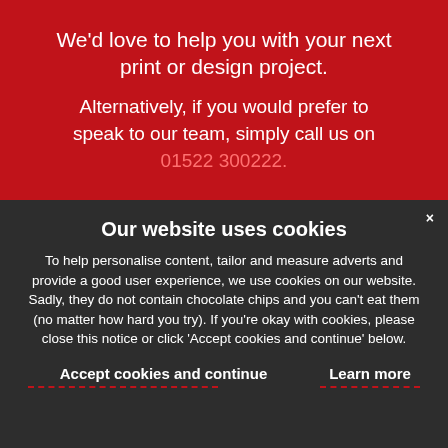We'd love to help you with your next print or design project.
Alternatively, if you would prefer to speak to our team, simply call us on 01522 300222.
Our website uses cookies
To help personalise content, tailor and measure adverts and provide a good user experience, we use cookies on our website. Sadly, they do not contain chocolate chips and you can't eat them (no matter how hard you try). If you're okay with cookies, please close this notice or click 'Accept cookies and continue' below.
Accept cookies and continue
Learn more